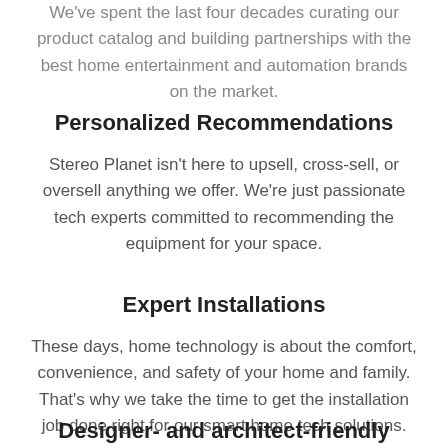We've spent the last four decades curating our product catalog and building partnerships with the best home entertainment and automation brands on the market.
Personalized Recommendations
Stereo Planet isn't here to upsell, cross-sell, or oversell anything we offer. We're just passionate tech experts committed to recommending the equipment for your space.
Expert Installations
These days, home technology is about the comfort, convenience, and safety of your home and family. That's why we take the time to get the installation job done right for our smart home tech solutions.
Designer- and architect-friendly